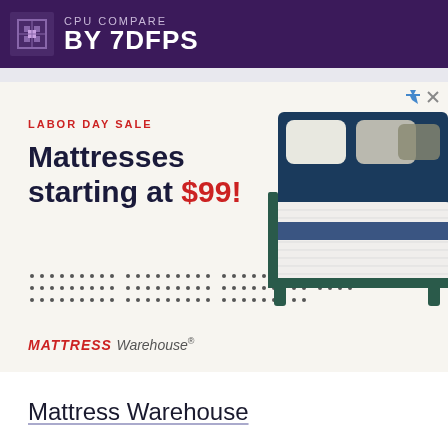CPU COMPARE BY 7DFPS
[Figure (infographic): Mattress Warehouse Labor Day Sale advertisement. Text reads: LABOR DAY SALE, Mattresses starting at $99! with an image of a bed with white bedding and a teal/navy frame. Mattress Warehouse logo at bottom.]
Mattress Warehouse
Intel Core i7-3770 | AMD Ryzen Threadripper 1950X